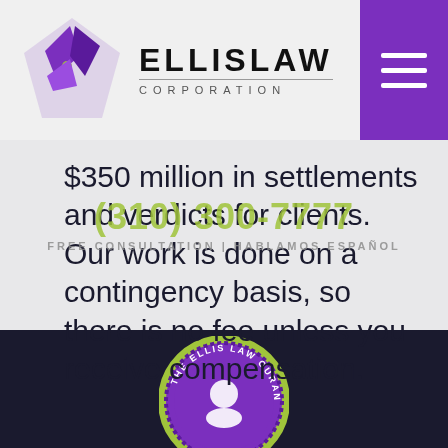[Figure (logo): Ellis Law Corporation logo with purple diamond/arrow icon and bold ELLISLAW text with CORPORATION underneath in spaced letters]
(310) 300-7777
FREE CONSULTATION | HABLAMOS ESPAÑOL
$350 million in settlements and verdicts for clients. Our work is done on a contingency basis, so there is no fee unless you receive compensation.
[Figure (logo): The Ellis Law Guarantee circular badge/seal in purple and green at the bottom of the page]